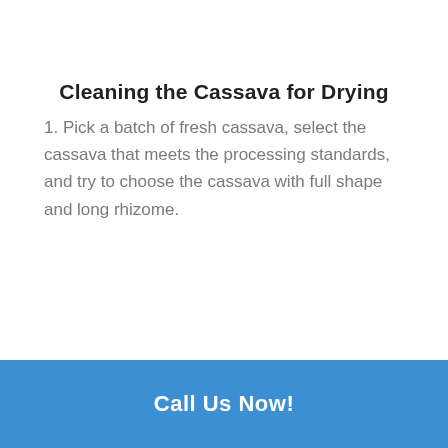Cleaning the Cassava for Drying
1. Pick a batch of fresh cassava, select the cassava that meets the processing standards, and try to choose the cassava with full shape and long rhizome.
Call Us Now!